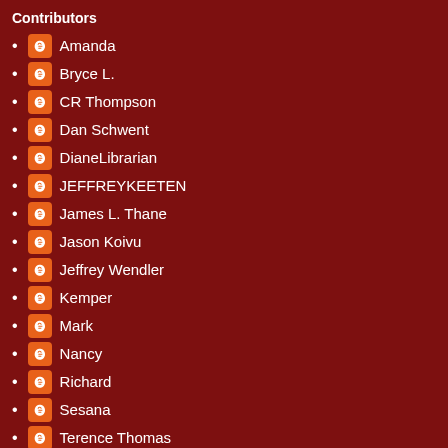Contributors
Amanda
Bryce L.
CR Thompson
Dan Schwent
DianeLibrarian
JEFFREYKEETEN
James L. Thane
Jason Koivu
Jeffrey Wendler
Kemper
Mark
Nancy
Richard
Sesana
Terence Thomas
Terry